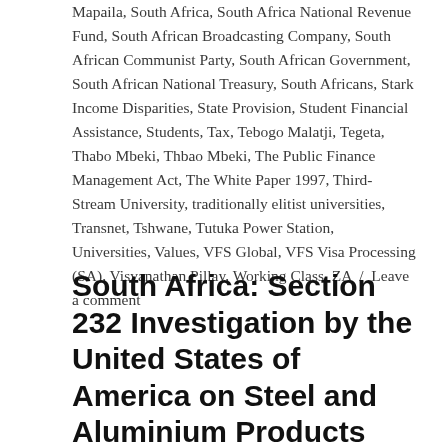Mapaila, South Africa, South Africa National Revenue Fund, South African Broadcasting Company, South African Communist Party, South African Government, South African National Treasury, South Africans, Stark Income Disparities, State Provision, Student Financial Assistance, Students, Tax, Tebogo Malatji, Tegeta, Thabo Mbeki, Thbao Mbeki, The Public Finance Management Act, The White Paper 1997, Third-Stream University, traditionally elitist universities, Transnet, Tshwane, Tutuka Power Station, Universities, Values, VFS Global, VFS Visa Processing (SA), Visvanathan Pillay, Working Class, ZA / Leave a comment
South Africa: Section 232 Investigation by the United States of America on Steel and Aluminium Products